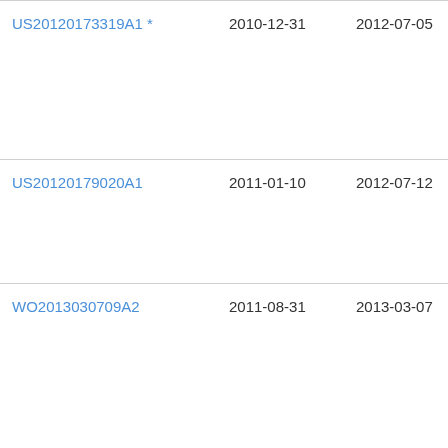| Patent | Filing Date | Publication Date | Assignee |
| --- | --- | --- | --- |
| US20120173319A1 * | 2010-12-31 | 2012-07-05 | Da… |
| US20120179020A1 | 2011-01-10 | 2012-07-12 | Wi… We… |
| WO2013030709A2 | 2011-08-31 | 2013-03-07 | Ko… Phi… Ele… N.V… |
| US8403881B2 | 2007-12-18 | 2013-03-26 | The… Sci… I, L… |
| US8409132B2 | 2007-12-18 | 2013-04-02 | The… |